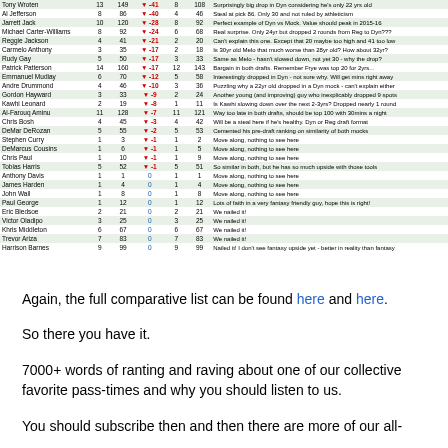| Name |  |  | Diff |  |  | Notes |
| --- | --- | --- | --- | --- | --- | --- |
| Tony Wroten | 13 | 149 | ▼ -41 | 8 | 108 | Surprisingly big drop in Dyn considering he's only 22 yrs old |
| Al Jefferson | 8 | 86 | ▼ -40 | 4 | 46 | Steal at pick 86. Only 30 and not ruled by athleticism |
| Jarrett Jack | 10 | 120 | ▼ -28 | 8 | 92 | Perfect example of Dyn vs Mock. Value should peak in 2015-16 |
| Michael Carter-Williams | 8 | 92 | ▼ -24 | 6 | 68 | Real surprise. Only 24yr but dropped 2 rounds from Reg to Dyn??? |
| Reggie Jackson | 4 | 41 | ▼ -21 | 2 | 20 | Can't explain this one. Except that 20 maybe too high and 41 too low |
| Carmelo Anthony | 3 | 35 | ▼ -17 | 2 | 18 | Is 30yr old Melo that much worse than 28yr old? How about 32yr? |
| Rudy Gay | 5 | 50 | ▼ -17 | 3 | 33 | Same as Melo - hasn't slowed down, not yet 30 - why the drop? |
| Patrick Patterson | 14 | 160 | ▼ -17 | 12 | 143 | Bargain in both drafts. Remember Frye was top 20 for 2yrs... |
| Emmanuel Mudiay | 6 | 70 | ▼ -12 | 5 | 58 | Interestingly dropped in Dyn - not sure why. Will get mins right away |
| Andre Drummond | 4 | 46 | ▼ -10 | 3 | 36 | Puzzling why a 22yr old dropped in a Dyn mock - can't explain either |
| Gordon Hayward | 3 | 33 | ▼ -9 | 2 | 24 | Another young (and improving) guy who inexplicably dropped 9 spots |
| Kawhi Leonard | 2 | 19 | ▼ -8 | 1 | 11 | Is Kawhi slowing down over the next 2-3yrs? Dropped nearly 1 round |
| Al-Farouq Aminu | 11 | 128 | ▼ -7 | 11 | 121 | Way too late in both drafts, should be top 100 with 30mins a night |
| Chris Bosh | 4 | 45 | ▼ -3 | 4 | 42 | Will be a steal here if he's healthy. Dyn or Reg draft format |
| DeMar DeRozan | 5 | 55 | ▼ -2 | 5 | 53 | Cemented his pre-draft ranking on similarity of both mocks |
| Stephen Curry | 1 | 3 | ▼ -1 | 1 | 2 | Move along, nothing to see here |
| DeMarcus Cousins | 1 | 6 | ▼ -1 | 1 | 5 | Move along, nothing to see here |
| Chris Paul | 1 | 10 | ▼ -1 | 1 | 9 | Move along, nothing to see here |
| Tobias Harris | 5 | 52 | ▼ -1 | 5 | 51 | So similar in both, but he has so much upside with those tools |
| Anthony Davis | 1 | 1 | 0 | 1 | 1 | Move along, nothing to see here |
| James Harden | 1 | 4 | 0 | 1 | 4 | Move along, nothing to see here |
| John Wall | 1 | 8 | 0 | 1 | 8 | Move along, nothing to see here |
| Paul George | 1 | 12 | 0 | 1 | 12 | Lots of faith in a very fantasy friendly guy, hope this is right! |
| Eric Bledsoe | 2 | 21 | 0 | 2 | 21 | We nailed it! |
| Victor Oladipo | 3 | 25 | 0 | 3 | 25 | We nailed it! |
| Khris Middleton | 6 | 67 | 0 | 6 | 67 | We nailed it! |
| Trevor Ariza | 7 | 83 | 0 | 7 | 83 | We nailed it! |
| Harrison Barnes | 9 | 99 | 0 | 9 | 99 | Nailed it! I don't see fantasy upside yet - better in reality than fantasy |
Again, the full comparative list can be found here and here.
So there you have it.
7000+ words of ranting and raving about one of our collective favorite pass-times and why you should listen to us.
You should subscribe then and then there are more of our all-